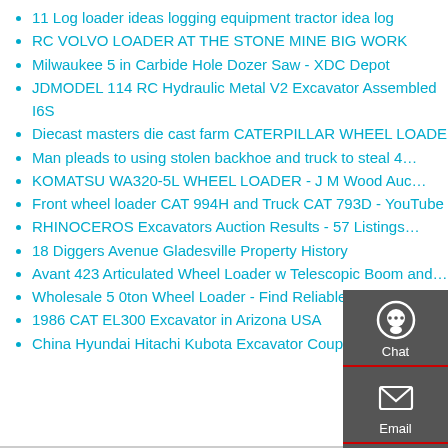11 Log loader ideas logging equipment tractor idea log
RC VOLVO LOADER AT THE STONE MINE BIG WORK
Milwaukee 5 in Carbide Hole Dozer Saw - XDC Depot
JDMODEL 114 RC Hydraulic Metal V2 Excavator Assembled I6S
Diecast masters die cast farm CATERPILLAR WHEEL LOADER
Man pleads to using stolen backhoe and truck to steal 4…
KOMATSU WA320-5L WHEEL LOADER - J M Wood Auc…
Front wheel loader CAT 994H and Truck CAT 793D - YouTube
RHINOCEROS Excavators Auction Results - 57 Listings…
18 Diggers Avenue Gladesville Property History
Avant 423 Articulated Wheel Loader w Telescopic Boom and…
Wholesale 5 0ton Wheel Loader - Find Reliable 5 0ton Wheel…
1986 CAT EL300 Excavator in Arizona USA
China Hyundai Hitachi Kubota Excavator Coupling Hydraulic…
[Figure (other): Sidebar widget with Chat, Email, and Contact icons on dark grey background]